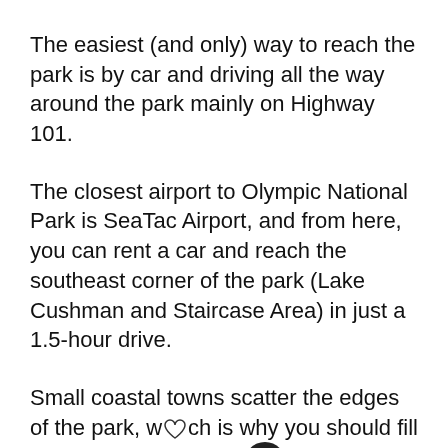The easiest (and only) way to reach the park is by car and driving all the way around the park mainly on Highway 101.
The closest airport to Olympic National Park is SeaTac Airport, and from here, you can rent a car and reach the southeast corner of the park (Lake Cushman and Staircase Area) in just a 1.5-hour drive.
Small coastal towns scatter the edges of the park, which is why you should fill up with gas in bigger towns like Port Angeles, Forks, Aberdeen, and Shelton.